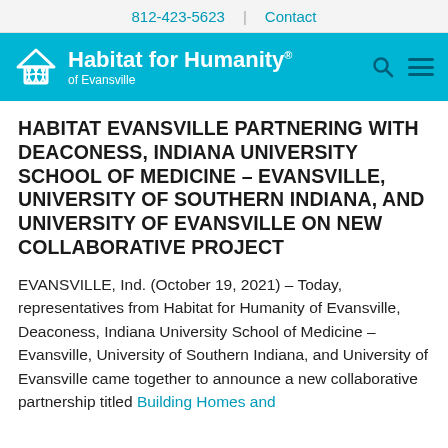812-423-5623 | Contact
[Figure (logo): Habitat for Humanity of Evansville logo on teal background with search and menu icons]
HABITAT EVANSVILLE PARTNERING WITH DEACONESS, INDIANA UNIVERSITY SCHOOL OF MEDICINE – EVANSVILLE, UNIVERSITY OF SOUTHERN INDIANA, AND UNIVERSITY OF EVANSVILLE ON NEW COLLABORATIVE PROJECT
EVANSVILLE, Ind. (October 19, 2021) – Today, representatives from Habitat for Humanity of Evansville, Deaconess, Indiana University School of Medicine – Evansville, University of Southern Indiana, and University of Evansville came together to announce a new collaborative partnership titled Building Homes and...